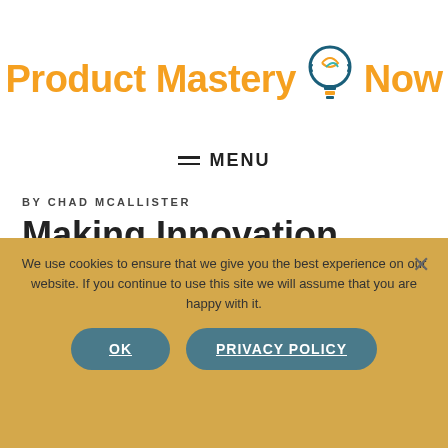[Figure (logo): Product Mastery Now logo with orange text and teal lightbulb icon]
MENU
BY CHAD MCALLISTER
Making Innovation Work: How to Manage it, Measure it and Profit from it
We use cookies to ensure that we give you the best experience on our website. If you continue to use this site we will assume that you are happy with it.
OK   PRIVACY POLICY